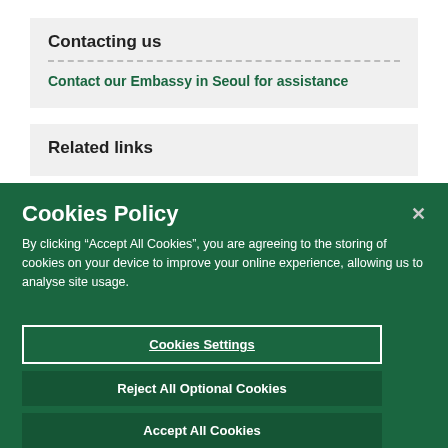Contacting us
Contact our Embassy in Seoul for assistance
Related links
Cookies Policy
By clicking “Accept All Cookies”, you are agreeing to the storing of cookies on your device to improve your online experience, allowing us to analyse site usage.
Cookies Settings
Reject All Optional Cookies
Accept All Cookies